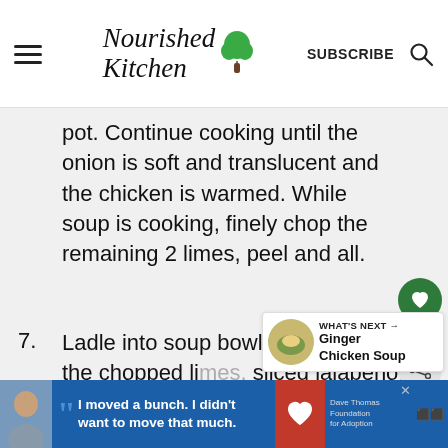Nourished Kitchen | SUBSCRIBE
pot. Continue cooking until the onion is soft and translucent and the chicken is warmed. While soup is cooking, finely chop the remaining 2 limes, peel and all.
7. Ladle into soup bowls and serve with the chopped li... sliced jalapeño, crumbled Cotija cheese, sliced
[Figure (other): What's Next widget with circular food photo and text: Ginger Chicken Soup]
[Figure (other): Advertisement banner: I moved a bunch. I didn't want to move much. Dave Thomas Foundation for Adoption.]